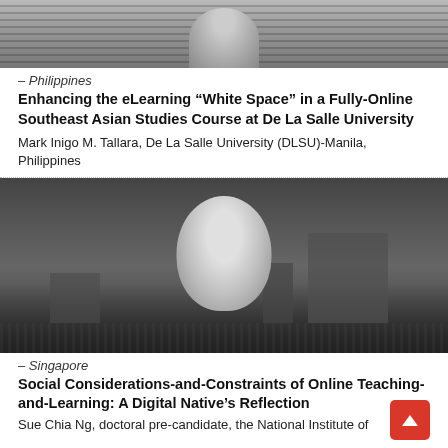[Figure (photo): Black and white photo of a person wearing a striped shirt, cropped to show upper body]
– Philippines
Enhancing the eLearning “White Space” in a Fully-Online Southeast Asian Studies Course at De La Salle University
Mark Inigo M. Tallara, De La Salle University (DLSU)-Manila, Philippines
[Figure (photo): Black and white photo of a young woman smiling with a city skyline (Marina Bay Sands, Singapore) in the background at night]
– Singapore
Social Considerations-and-Constraints of Online Teaching-and-Learning: A Digital Native’s Reflection
Sue Chia Ng, doctoral pre-candidate, the National Institute of